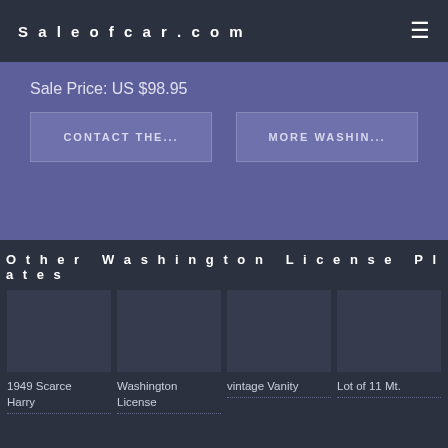Saleofcar.com
Sale Price: US $98.95
CONTACT THE...
MORE WASHIN...
Other Washington License Plates
1949 Scarce Harry
Washington License
vintage Vanity
Lot of 11 Mt.